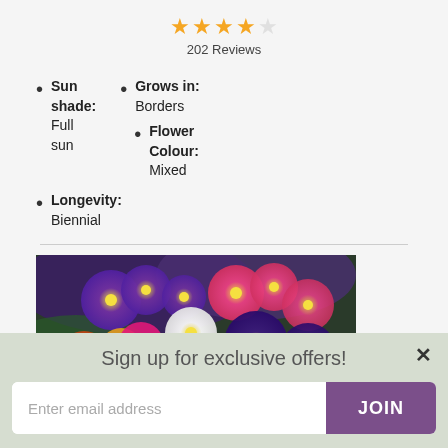[Figure (other): Star rating: 4 out of 5 stars (202 Reviews)]
202 Reviews
Sun shade: Full sun
Grows in: Borders
Flower Colour: Mixed
Longevity: Biennial
[Figure (photo): Colorful mixed primrose flowers including purple, pink, white, yellow and red varieties arranged together]
Sign up for exclusive offers!
Enter email address
JOIN